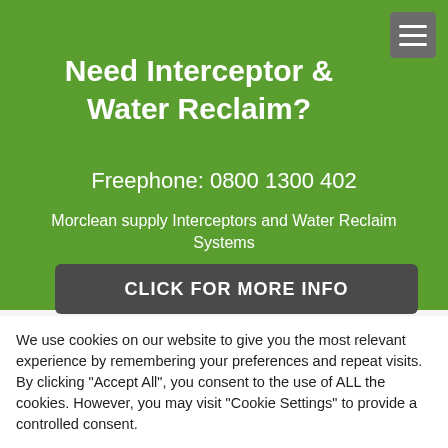Need Interceptor & Water Reclaim?
Freephone: 0800 1300 402
Morclean supply Interceptors and Water Reclaim Systems
CLICK FOR MORE INFO
We use cookies on our website to give you the most relevant experience by remembering your preferences and repeat visits. By clicking "Accept All", you consent to the use of ALL the cookies. However, you may visit "Cookie Settings" to provide a controlled consent.
Cookie Settings
Accept All